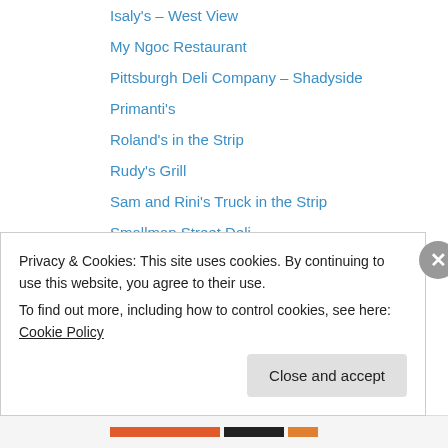Isaly's – West View
My Ngoc Restaurant
Pittsburgh Deli Company – Shadyside
Primanti's
Roland's in the Strip
Rudy's Grill
Sam and Rini's Truck in the Strip
Smallman Street Deli
The Thin Man Sandwich Shop
Triangle Bar – Swissvale
Union Grill
Washington
The Upper Crust
Privacy & Cookies: This site uses cookies. By continuing to use this website, you agree to their use.
To find out more, including how to control cookies, see here: Cookie Policy
Close and accept